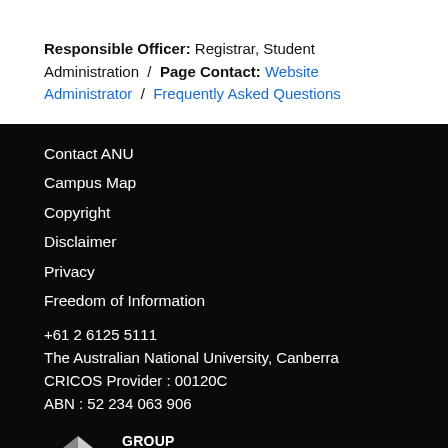Responsible Officer: Registrar, Student Administration  /  Page Contact: Website Administrator  /  Frequently Asked Questions
Contact ANU
Campus Map
Copyright
Disclaimer
Privacy
Freedom of Information
+61 2 6125 5111
The Australian National University, Canberra
CRICOS Provider : 00120C
ABN : 52 234 063 906
[Figure (logo): Group of Eight Australia Member logo — geometric diamond shape with text GROUP OF EIGHT AUSTRALIA MEMBER]